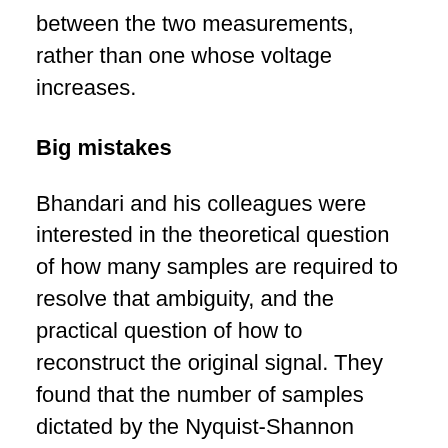between the two measurements, rather than one whose voltage increases.
Big mistakes
Bhandari and his colleagues were interested in the theoretical question of how many samples are required to resolve that ambiguity, and the practical question of how to reconstruct the original signal. They found that the number of samples dictated by the Nyquist-Shannon theorem, multiplied by pi and by Euler's number e, or roughly 8.5, would guarantee faithful reconstruction.
The researchers' reconstruction algorithm relies on some clever mathematics. In a self-reset ADC, the